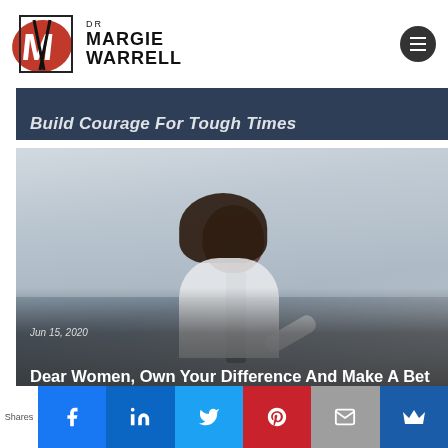[Figure (logo): Dr Margie Warrell logo with red brush stroke M graphic and black text]
[Figure (photo): Partially visible dark blue/navy image strip with italic white text 'Build Courage For Tough Times']
Jun 15, 2020
Dear Women, Own Your Difference And Make A Bet On Yourself
[Figure (photo): Photo of a woman with curly hair in a white shirt sitting in an office chair, looking sideways, with a blurred window background. Overlay shows date and article title.]
Shares